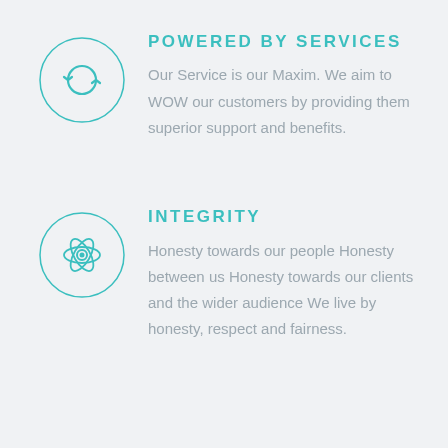[Figure (illustration): Circular icon with a sync/refresh arrow symbol in teal outline style]
POWERED BY SERVICES
Our Service is our Maxim. We aim to WOW our customers by providing them superior support and benefits.
[Figure (illustration): Circular icon with an atom/electron orbit symbol in teal outline style]
INTEGRITY
Honesty towards our people Honesty between us Honesty towards our clients and the wider audience We live by honesty, respect and fairness.